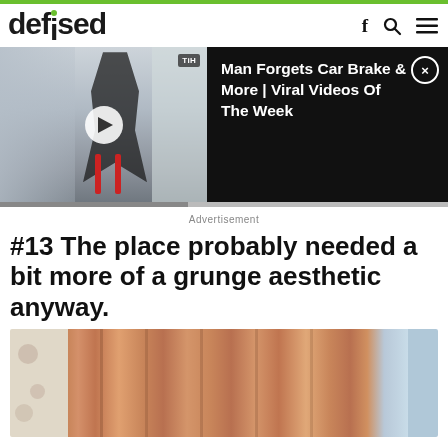[Figure (screenshot): Defused website header with green top bar, logo 'defused' with green dot on the i, and social/menu icons (f, magnifying glass, hamburger menu) on the right]
[Figure (screenshot): Video thumbnail showing person doing handstand/acrobatic move with TiH badge, play button in center, and black panel on right with title 'Man Forgets Car Brake & More | Viral Videos Of The Week' and X close button]
Advertisement
#13 The place probably needed a bit more of a grunge aesthetic anyway.
[Figure (photo): Photo of a room with floral wallpaper on the left and orange/brown curtains in the center-right, with blue window trim visible on the far right]